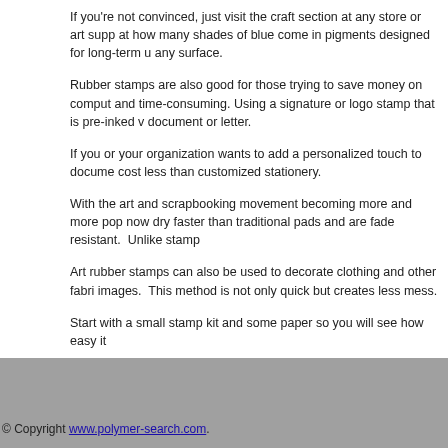If you're not convinced, just visit the craft section at any store or art supp at how many shades of blue come in pigments designed for long-term u any surface.
Rubber stamps are also good for those trying to save money on comput and time-consuming. Using a signature or logo stamp that is pre-inked v document or letter.
If you or your organization wants to add a personalized touch to docume cost less than customized stationery.
With the art and scrapbooking movement becoming more and more pop now dry faster than traditional pads and are fade resistant.  Unlike stamp
Art rubber stamps can also be used to decorate clothing and other fabri images.  This method is not only quick but creates less mess.
Start with a small stamp kit and some paper so you will see how easy it
© Copyright www.polymer-search.com.